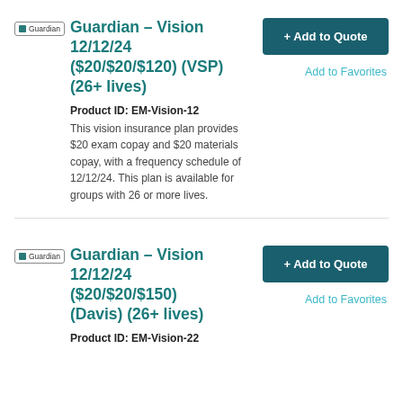[Figure (logo): Guardian logo with green square icon and text]
Guardian – Vision 12/12/24 ($20/$20/$120) (VSP) (26+ lives)
Product ID: EM-Vision-12
This vision insurance plan provides $20 exam copay and $20 materials copay, with a frequency schedule of 12/12/24. This plan is available for groups with 26 or more lives.
[Figure (logo): Guardian logo with green square icon and text]
Guardian – Vision 12/12/24 ($20/$20/$150) (Davis) (26+ lives)
Product ID: EM-Vision-22